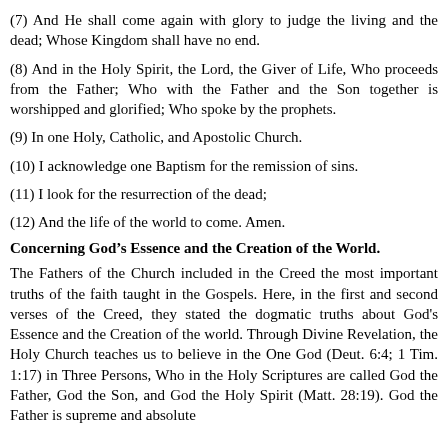(7) And He shall come again with glory to judge the living and the dead; Whose Kingdom shall have no end.
(8) And in the Holy Spirit, the Lord, the Giver of Life, Who proceeds from the Father; Who with the Father and the Son together is worshipped and glorified; Who spoke by the prophets.
(9) In one Holy, Catholic, and Apostolic Church.
(10) I acknowledge one Baptism for the remission of sins.
(11) I look for the resurrection of the dead;
(12) And the life of the world to come. Amen.
Concerning God’s Essence and the Creation of the World.
The Fathers of the Church included in the Creed the most important truths of the faith taught in the Gospels. Here, in the first and second verses of the Creed, they stated the dogmatic truths about God's Essence and the Creation of the world. Through Divine Revelation, the Holy Church teaches us to believe in the One God (Deut. 6:4; 1 Tim. 1:17) in Three Persons, Who in the Holy Scriptures are called God the Father, God the Son, and God the Holy Spirit (Matt. 28:19). God the Father is supreme and absolute...